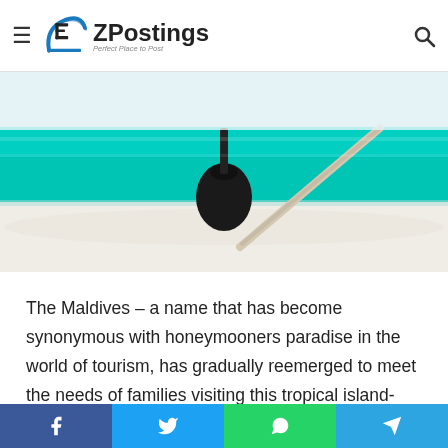EZPostings — Perfect Place to Post
[Figure (photo): Tropical beach scene showing turquoise water, white sand, a dark hanging lantern or ornament, and a leaning tree trunk]
The Maldives – a name that has become synonymous with honeymooners paradise in the world of tourism, has gradually reemerged to meet the needs of families visiting this tropical island-nation. High-end resorts have special child centers, snorkeling lessons by experts, and recreational events such as crab racing are among the many measures introduced over time to allow children to
Facebook | Twitter | WhatsApp | Telegram